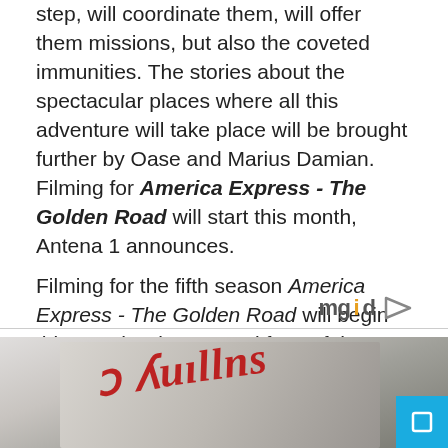step, will coordinate them, will offer them missions, but also the coveted immunities. The stories about the spectacular places where all this adventure will take place will be brought further by Oase and Marius Damian. Filming for America Express - The Golden Road will start this month, Antena 1 announces.
Filming for the fifth season America Express - The Golden Road will begin this month. Viewers and fans of the Antena 1 reality show will be constantly kept up to date with what is happening there both on TV and online, on a1.ro, in the section Journal of Asia and on the show's social media accounts.
[Figure (photo): Photo of a person wearing a white beanie hat with red cursive text, partially visible at bottom of page. A cyan/blue square button is visible in the bottom right corner.]